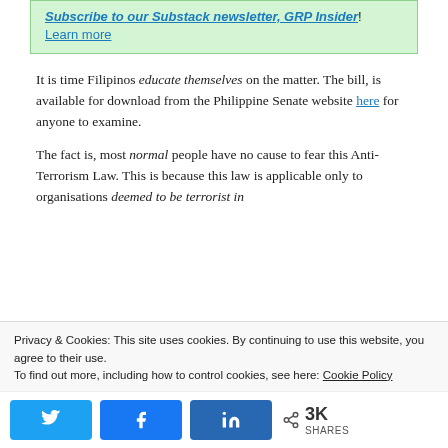Subscribe to our Substack newsletter, GRP Insider!
Learn more
It is time Filipinos educate themselves on the matter. The bill, is available for download from the Philippine Senate website here for anyone to examine.
The fact is, most normal people have no cause to fear this Anti-Terrorism Law. This is because this law is applicable only to organisations deemed to be terrorist in
Privacy & Cookies: This site uses cookies. By continuing to use this website, you agree to their use. To find out more, including how to control cookies, see here: Cookie Policy